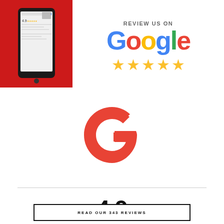[Figure (illustration): Google review promotional image: left side shows a smartphone with Google reviews on a red background; right side shows 'Review us on Google' text with the Google logo in multicolor letters and five gold stars beneath it.]
[Figure (logo): Large Google 'G' logo in red/coral color centered on the page.]
4.9
READ OUR 343 REVIEWS